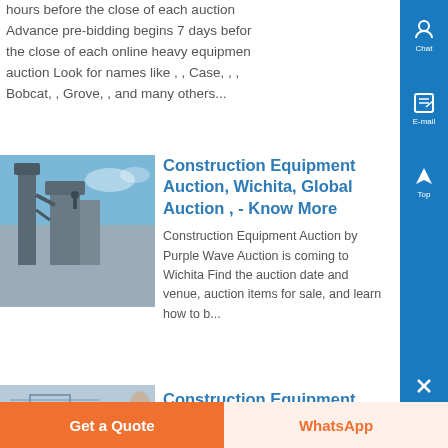hours before the close of each auction Advance pre-bidding begins 7 days before the close of each online heavy equipment auction Look for names like , , Case, , , Bobcat, , Grove, , and many others...
[Figure (photo): Industrial equipment / silos and machinery against blue sky]
Construction Equipment Auction, Wichita, Global Auction , - Know More
Construction Equipment Auction by Purple Wave Auction is coming to Wichita Find the auction date and venue, auction items for sale, and learn how to b...
[Figure (photo): Blueprint / technical drawings partial view]
Construction Equipment
Get a Quote
WhatsApp